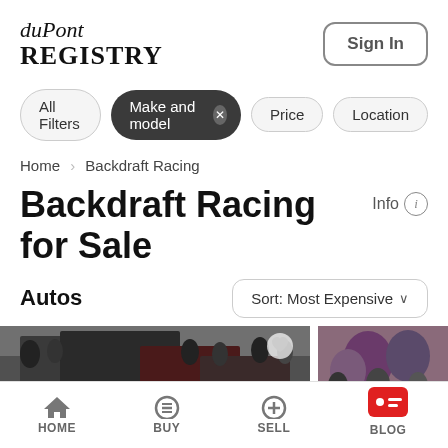[Figure (logo): duPont REGISTRY logo in serif font]
Sign In
All Filters   Make and model ×   Price   Location
Home > Backdraft Racing
Backdraft Racing for Sale
Info ⓘ
Autos
Sort: Most Expensive ˅
[Figure (photo): Car show/auction scene with people and vehicles visible]
HOME   BUY   SELL   BLOG